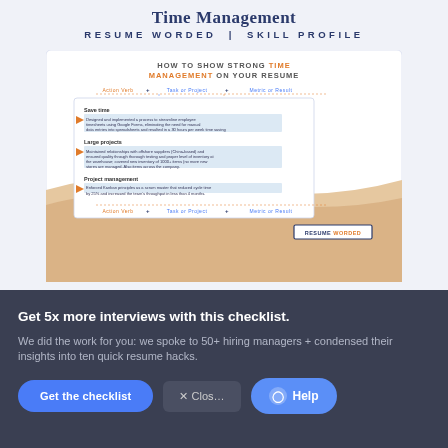Time Management
RESUME WORDED | SKILL PROFILE
[Figure (infographic): Infographic showing how to show strong time management on your resume, with a formula bar (Action Verb + Task or Project + Metric or Result), and sample resume bullet points for Save time, Large projects, and Project management sections, with highlighted text in blue and a sand wave background. Resume Worded badge at bottom right.]
Get 5x more interviews with this checklist.
We did the work for you: we spoke to 50+ hiring managers + condensed their insights into ten quick resume hacks.